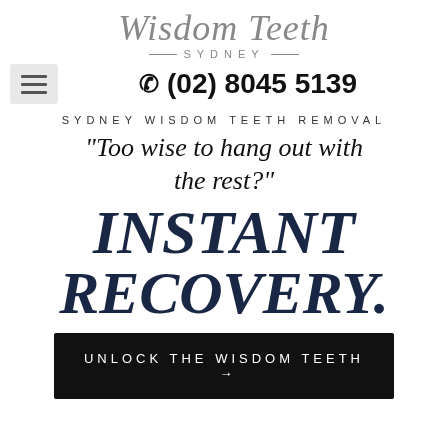[Figure (logo): Wisdom Teeth Sydney logo — cursive script 'Wisdom Teeth' above '— SYDNEY —' in spaced sans-serif capitals]
(02) 8045 5139
SYDNEY WISDOM TEETH REMOVAL
"Too wise to hang out with the rest?"
INSTANT RECOVERY.
UNLOCK THE WISDOM TEETH →